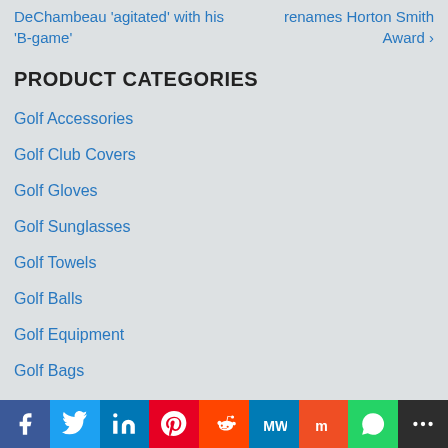DeChambeau 'agitated' with his 'B-game'
renames Horton Smith Award ›
PRODUCT CATEGORIES
Golf Accessories
Golf Club Covers
Golf Gloves
Golf Sunglasses
Golf Towels
Golf Balls
Golf Equipment
Golf Bags